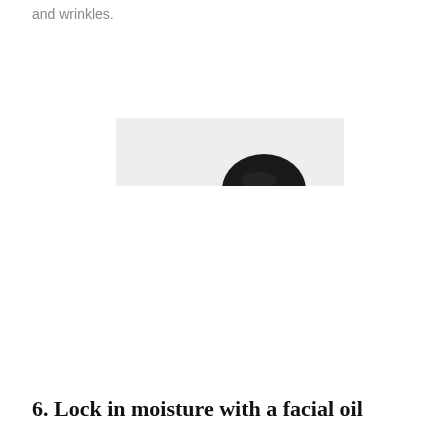and wrinkles.
[Figure (photo): A partially cropped photo showing a dark circular object against a light/white background, appearing to be a jar or container lid viewed from above, positioned in the upper-center area of the image.]
6. Lock in moisture with a facial oil